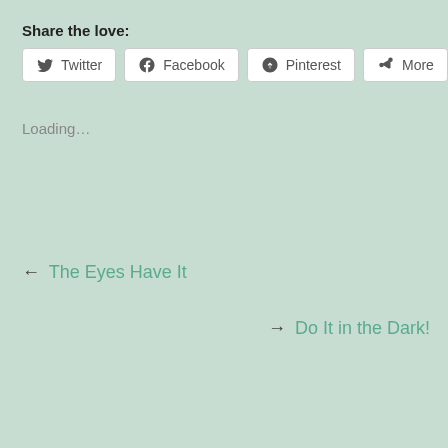Share the love:
Twitter  Facebook  Pinterest  More
Loading...
← The Eyes Have It
→ Do It in the Dark!